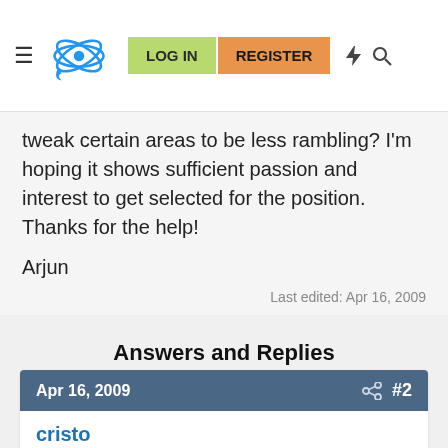LOG IN | REGISTER
tweak certain areas to be less rambling? I'm hoping it shows sufficient passion and interest to get selected for the position. Thanks for the help!
Arjun
Last edited: Apr 16, 2009
Answers and Replies
Apr 16, 2009 #2
cristo